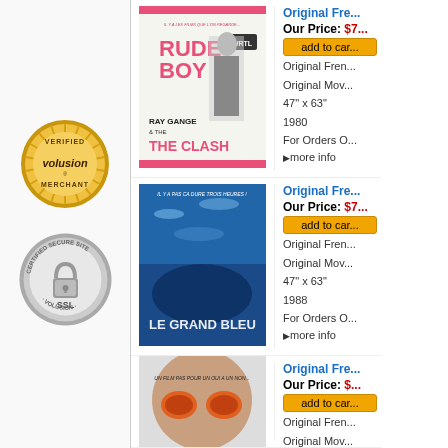[Figure (logo): Volusion Verified Merchant badge - gold circular seal]
[Figure (logo): Volusion Certified Secure Site SSL badge - silver circular seal]
[Figure (photo): Rude Boy movie poster - Ray Gange & The Clash, 1980]
Original Fre...
Our Price: $7...
add to car...
Original Fren...
Original Mov...
47" x 63"
1980
For Orders O...
more info
[Figure (photo): Le Grand Bleu movie poster - Ca dure trois heures, 1988]
Original Fre...
Our Price: $7...
add to car...
Original Fren...
Original Mov...
47" x 63"
1988
For Orders O...
more info
[Figure (photo): Third movie poster - partially visible at bottom]
Original Fre...
Our Price: $...
add to car...
Original Fren...
Original Mov...